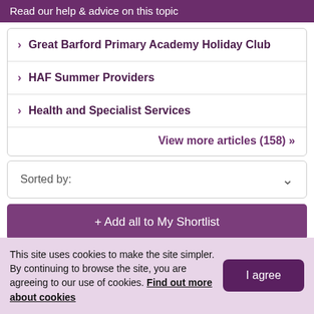Read our help & advice on this topic
Great Barford Primary Academy Holiday Club
HAF Summer Providers
Health and Specialist Services
View more articles (158) »
Sorted by:
+ Add all to My Shortlist
This site uses cookies to make the site simpler. By continuing to browse the site, you are agreeing to our use of cookies. Find out more about cookies